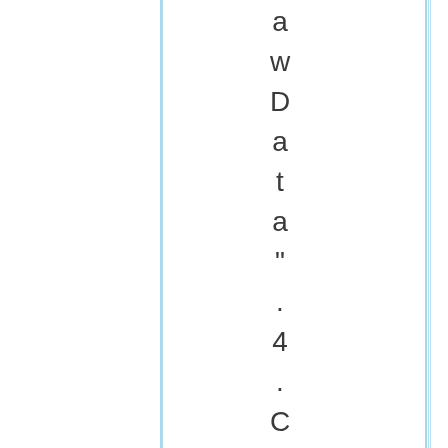a w D a t a " . 4 . C l i c k o